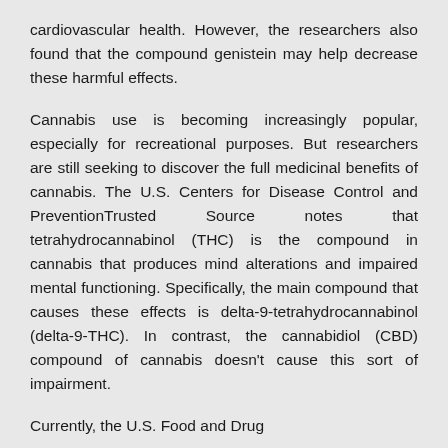cardiovascular health. However, the researchers also found that the compound genistein may help decrease these harmful effects.
Cannabis use is becoming increasingly popular, especially for recreational purposes. But researchers are still seeking to discover the full medicinal benefits of cannabis. The U.S. Centers for Disease Control and PreventionTrusted Source notes that tetrahydrocannabinol (THC) is the compound in cannabis that produces mind alterations and impaired mental functioning. Specifically, the main compound that causes these effects is delta-9-tetrahydrocannabinol (delta-9-THC). In contrast, the cannabidiol (CBD) compound of cannabis doesn't cause this sort of impairment.
Currently, the U.S. Food and Drug